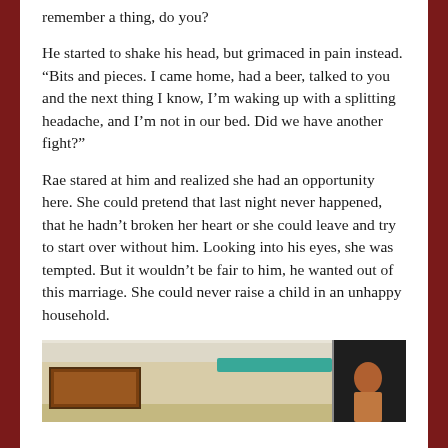remember a thing, do you?
He started to shake his head, but grimaced in pain instead. “Bits and pieces. I came home, had a beer, talked to you and the next thing I know, I’m waking up with a splitting headache, and I’m not in our bed. Did we have another fight?”
Rae stared at him and realized she had an opportunity here. She could pretend that last night never happened, that he hadn’t broken her heart or she could leave and try to start over without him. Looking into his eyes, she was tempted. But it wouldn’t be fair to him, he wanted out of this marriage. She could never raise a child in an unhappy household.
[Figure (photo): Interior room scene showing ceiling, a teal decorative banner or curtain, wall art on the left side, and a figure (person with reddish hair) on the right side against a dark background.]